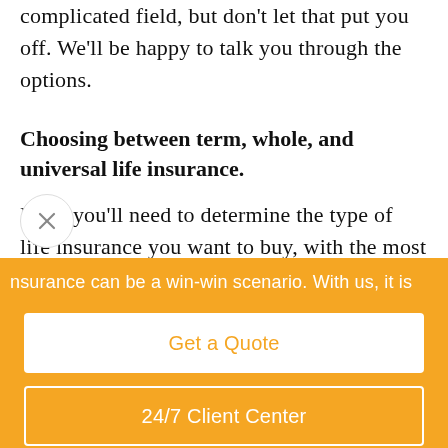complicated field, but don't let that put you off. We'll be happy to talk you through the options.
Choosing between term, whole, and universal life insurance.
First, you'll need to determine the type of life insurance you want to buy, with the most common types being term life insurance, whole life
nsurance can be a win-win scenario. With us, it is
Get a Quote
24/7 Client Center